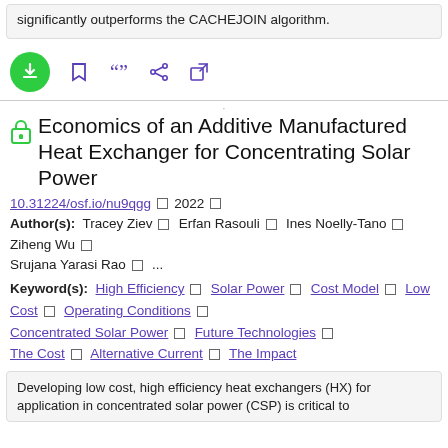significantly outperforms the CACHEJOIN algorithm.
[Figure (screenshot): Toolbar with download (green circle), bookmark, citation, share, and external link icons in purple]
Economics of an Additive Manufactured Heat Exchanger for Concentrating Solar Power
10.31224/osf.io/nu9qgg  2022
Author(s): Tracey Ziev  Erfan Rasouli  Ines Noelly-Tano  Ziheng Wu  Srujana Yarasi Rao  ...
Keyword(s): High Efficiency  Solar Power  Cost Model  Low Cost  Operating Conditions  Concentrated Solar Power  Future Technologies  The Cost  Alternative Current  The Impact
Developing low cost, high efficiency heat exchangers (HX) for application in concentrated solar power (CSP) is critical to